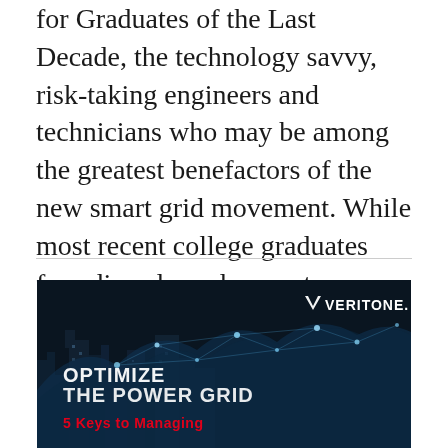for Graduates of the Last Decade, the technology savvy, risk-taking engineers and technicians who may be among the greatest benefactors of the new smart grid movement. While most recent college graduates face dismal employment… [Read more…]
[Figure (illustration): Veritone advertisement banner showing a dark city skyline with glowing network connections overlay. Text reads: VERITONE. OPTIMIZE THE POWER GRID 5 Keys to Managing]